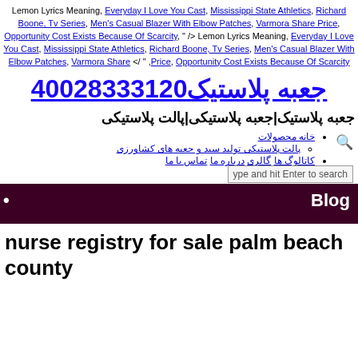Lemon Lyrics Meaning, Everyday I Love You Cast, Mississippi State Athletics, Richard Boone, Tv Series, Men's Casual Blazer With Elbow Patches, Varmora Share Price, Opportunity Cost Exists Because Of Scarcity, " /> Lemon Lyrics Meaning, Everyday I Love You Cast, Mississippi State Athletics, Richard Boone, Tv Series, Men's Casual Blazer With Elbow Patches, Varmora Share </ " ,Price, Opportunity Cost Exists Because Of Scarcity
جعبه پلاستیک02133382004
جعبه پلاستیک|جعبه پلاستیکی|پالت پلاستیکی
خانه محصولات
پالت پلاستیکی تولید سبد و جعبه های کشاورزی
کاتالوگ ها گالری درباره ما تماس با ما
ype and hit Enter to search
• Blog
nurse registry for sale palm beach county